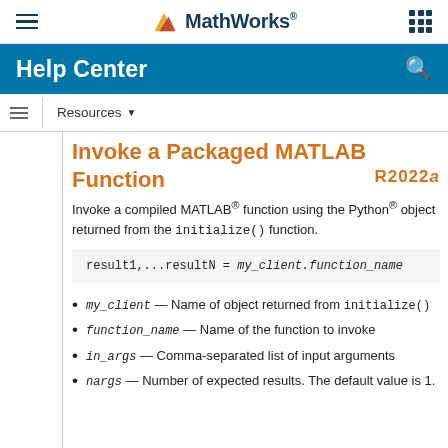MathWorks Help Center
Invoke a Packaged MATLAB Function
Invoke a compiled MATLAB® function using the Python® object returned from the initialize() function.
my_client — Name of object returned from initialize()
function_name — Name of the function to invoke
in_args — Comma-separated list of input arguments
nargs — Number of expected results. The default value is 1.